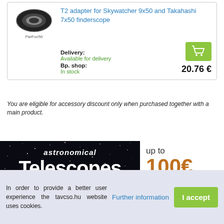T2 adapter for Skywatcher 9x50 and Takahashi 7x50 finderscope
Delivery: Available for delivery
Bp. shop: In stock
20.76 €
You are eligible for accessory discount only when purchased together with a main product.
[Figure (photo): Banner showing astronomical telescopes with star cluster background, text reading 'astronomical Telescopes up to 100€' with a telescope silhouette]
In order to provide a better user experience the tavcso.hu website uses cookies.
Further information
I accept